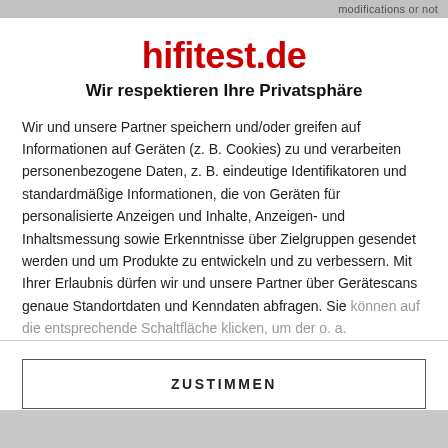modifications or not
hifitest.de
Wir respektieren Ihre Privatsphäre
Wir und unsere Partner speichern und/oder greifen auf Informationen auf Geräten (z. B. Cookies) zu und verarbeiten personenbezogene Daten, z. B. eindeutige Identifikatoren und standardmäßige Informationen, die von Geräten für personalisierte Anzeigen und Inhalte, Anzeigen- und Inhaltsmessung sowie Erkenntnisse über Zielgruppen gesendet werden und um Produkte zu entwickeln und zu verbessern. Mit Ihrer Erlaubnis dürfen wir und unsere Partner über Gerätescans genaue Standortdaten und Kenndaten abfragen. Sie können auf die entsprechende Schaltfläche klicken, um der o. a.
ZUSTIMMEN
MEHR OPTIONEN